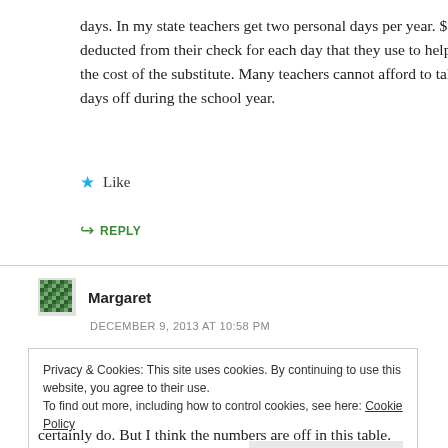days. In my state teachers get two personal days per year. $50 is deducted from their check for each day that they use to help cover the cost of the substitute. Many teachers cannot afford to take days off during the school year.
Like
REPLY
Margaret
DECEMBER 9, 2013 AT 10:58 PM
Privacy & Cookies: This site uses cookies. By continuing to use this website, you agree to their use.
To find out more, including how to control cookies, see here: Cookie Policy
Close and accept
certainly do. But I think the numbers are off in this table.